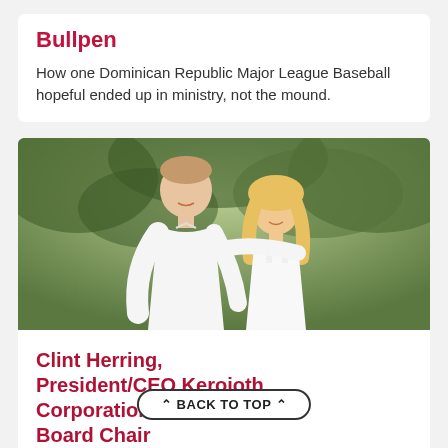Bullpen
How one Dominican Republic Major League Baseball hopeful ended up in ministry, not the mound.
[Figure (photo): A smiling couple standing outdoors in front of green foliage. The man wears a white button-down shirt and the woman wears a white top, with blonde hair.]
Clint Herring, President/CEO Keroioth Corporation & FCA Board Chair
I want every FCA supporter to experience firsthand and to see the "gleam and twinkle"
BACK TO TOP